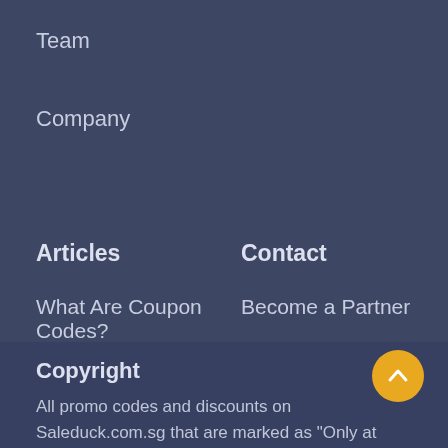Team
Company
Articles
Contact
What Are Coupon Codes?
Become a Partner
Blog
Collaborate with Us
Contact us
Copyright
All promo codes and discounts on Saleduck.com.sg that are marked as "Only at Saleduck" cannot be published by